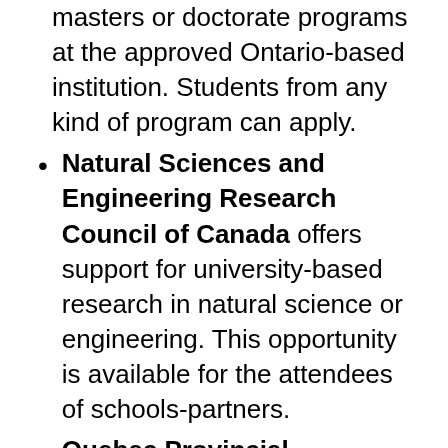masters or doctorate programs at the approved Ontario-based institution. Students from any kind of program can apply.
Natural Sciences and Engineering Research Council of Canada offers support for university-based research in natural science or engineering. This opportunity is available for the attendees of schools-partners.
Quebec Provincial Government Scholarship is a merit-based opportunity and is available for individuals completing their MBA or PhD.
Ontario Trillium Scholarship is available for graduates completing PhD courses in